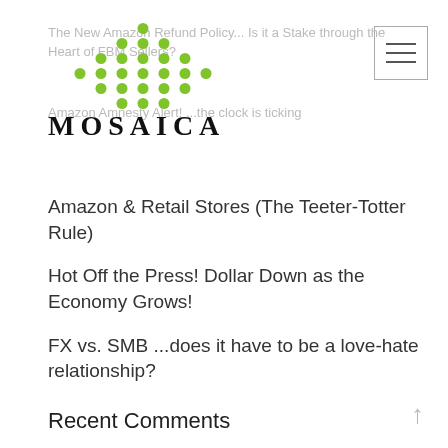The New Amazon Refund Policy... Is it a Stake through the Heart of FBM Sellers?
[Figure (logo): Mosaica logo with green dot pattern above the text MOSAICA in bold serif letters with wide letter-spacing]
Amazon Amnesty Alert! ...the clock is ticking
Amazon & Retail Stores (The Teeter-Totter Rule)
Hot Off the Press! Dollar Down as the Economy Grows!
FX vs. SMB ...does it have to be a love-hate relationship?
Recent Comments